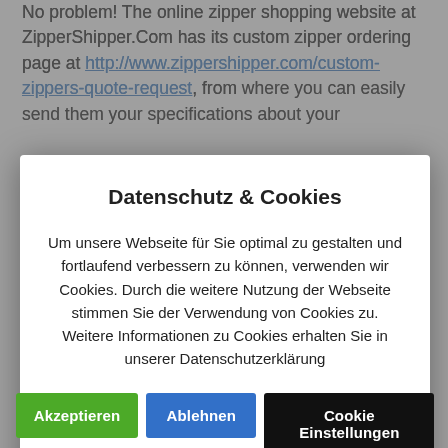No problem! The online zipper shopping website at ZipperShipper.Com has its custom zipper ordering page at http://www.zippershipper.com/custom-zippers-quote-request, from where you can easily send them your specifications about your...
Datenschutz & Cookies
Um unsere Webseite für Sie optimal zu gestalten und fortlaufend verbessern zu können, verwenden wir Cookies. Durch die weitere Nutzung der Webseite stimmen Sie der Verwendung von Cookies zu. Weitere Informationen zu Cookies erhalten Sie in unserer Datenschutzerklärung
...zippers, separating zippers or custom zippers you need.
If you are into tailoring or do it yourself stuff and constantly need tailoring accessories, it is probably a good idea for you to check out